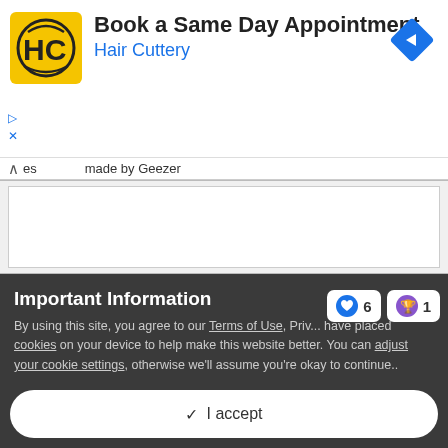[Figure (screenshot): Hair Cuttery advertisement banner with logo showing HC initials in black circle on yellow background, title 'Book a Same Day Appointment', subtitle 'Hair Cuttery' in blue, and a blue diamond navigation arrow icon on the right]
es   made by Geezer
Important Information
By using this site, you agree to our Terms of Use, Priv... have placed cookies on your device to help make this website better. You can adjust your cookie settings, otherwise we'll assume you're okay to continue..
✓  I accept